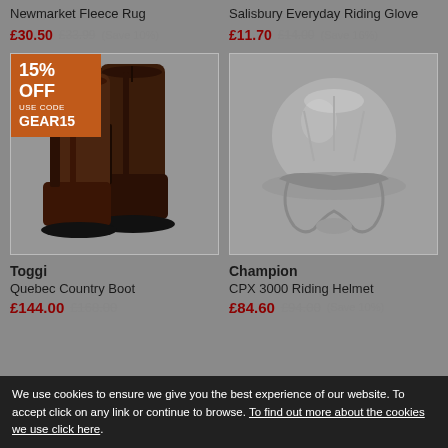Newmarket Fleece Rug
£30.50 £33.99 (Save 10%)
Salisbury Everyday Riding Glove
£11.70 £14.00 (Save 16%)
[Figure (photo): Brown Toggi Quebec Country Boot, tall leather country boot with drawstring top, shown with a 15% OFF promotional badge (USE CODE GEAR15)]
[Figure (photo): Champion CPX 3000 Riding Helmet shown in grey/silver color on grey background]
Toggi
Quebec Country Boot
£144.00 £168.00
Champion
CPX 3000 Riding Helmet
£84.60 £94.00 (Save 10%)
We use cookies to ensure we give you the best experience of our website. To accept click on any link or continue to browse. To find out more about the cookies we use click here.